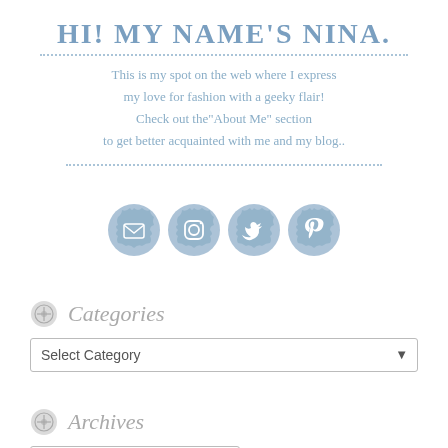HI! MY NAME'S NINA.
This is my spot on the web where I express my love for fashion with a geeky flair! Check out the "About Me" section to get better acquainted with me and my blog..
[Figure (infographic): Four circular badge-shaped social media icons in light blue: email/envelope, Instagram, Twitter, Pinterest]
Categories
Select Category
Archives
Select Month